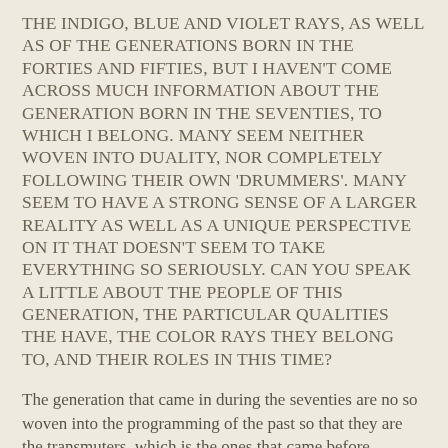THE INDIGO, BLUE AND VIOLET RAYS, AS WELL AS OF THE GENERATIONS BORN IN THE FORTIES AND FIFTIES, BUT I HAVEN'T COME ACROSS MUCH INFORMATION ABOUT THE GENERATION BORN IN THE SEVENTIES, TO WHICH I BELONG. MANY SEEM NEITHER WOVEN INTO DUALITY, NOR COMPLETELY FOLLOWING THEIR OWN 'DRUMMERS'. MANY SEEM TO HAVE A STRONG SENSE OF A LARGER REALITY AS WELL AS A UNIQUE PERSPECTIVE ON IT THAT DOESN'T SEEM TO TAKE EVERYTHING SO SERIOUSLY. CAN YOU SPEAK A LITTLE ABOUT THE PEOPLE OF THIS GENERATION, THE PARTICULAR QUALITIES THE HAVE, THE COLOR RAYS THEY BELONG TO, AND THEIR ROLES IN THIS TIME?
The generation that came in during the seventies are no so woven into the programming of the past so that they are the transmuters, which is the ones that came before. Transmutation is not your purpose. The purpose for many of this generation is to bring about a sense of informing